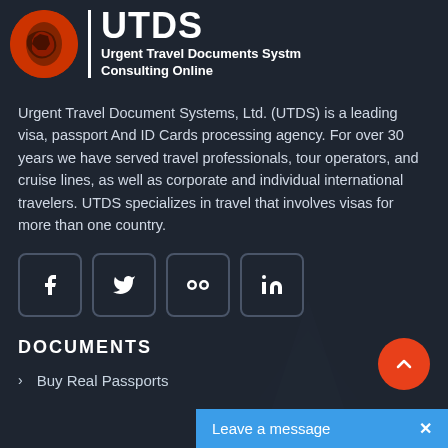[Figure (logo): UTDS logo: orange circle with globe/hand icon, vertical white divider, UTDS large text, subtitle 'Urgent Travel Documents Systm Consulting Online']
Urgent Travel Document Systems, Ltd. (UTDS) is a leading visa, passport And ID Cards processing agency. For over 30 years we have served travel professionals, tour operators, and cruise lines, as well as corporate and individual international travelers. UTDS specializes in travel that involves visas for more than one country.
[Figure (infographic): Four social media icon buttons in rounded square borders: Facebook (f), Twitter (bird/y), Flickr (two dots), LinkedIn (in)]
DOCUMENTS
Buy Real Passports